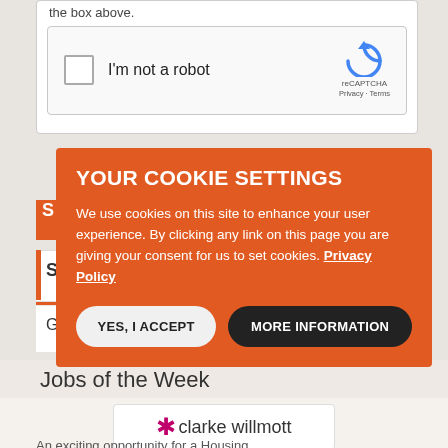the box above.
[Figure (screenshot): reCAPTCHA widget with checkbox labeled 'I'm not a robot' and reCAPTCHA logo with Privacy and Terms links]
YOUR COOKIE SETTINGS
We use cookies on this site to enhance your user experience. By clicking any link on this page you are giving your consent for us to set cookies. Privacy Policy
YES, I ACCEPT
MORE INFORMATION
Jobs of the Week
[Figure (logo): Clarke Willmott logo with pink asterisk]
An exciting opportunity for a Housing...